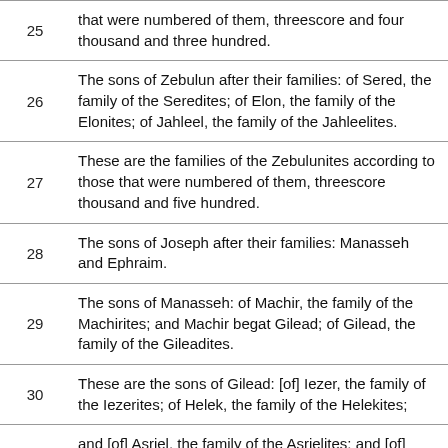| Verse | Text |
| --- | --- |
| 25 | that were numbered of them, threescore and four thousand and three hundred. |
| 26 | The sons of Zebulun after their families: of Sered, the family of the Seredites; of Elon, the family of the Elonites; of Jahleel, the family of the Jahleelites. |
| 27 | These are the families of the Zebulunites according to those that were numbered of them, threescore thousand and five hundred. |
| 28 | The sons of Joseph after their families: Manasseh and Ephraim. |
| 29 | The sons of Manasseh: of Machir, the family of the Machirites; and Machir begat Gilead; of Gilead, the family of the Gileadites. |
| 30 | These are the sons of Gilead: [of] Iezer, the family of the Iezerites; of Helek, the family of the Helekites; |
| 31 | and [of] Asriel, the family of the Asrielites; and [of] Shechem, the family of the Shechemites; |
| 32 | and [of] Shemida, the family of the Shemidaites; and [of] Hepher, the family of the Hepherites. |
|  | And Zelophehad the son of Hepher had no sons, but daughters: and the names of the daughters of... |